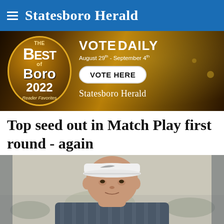Statesboro Herald
[Figure (advertisement): Best of the Boro 2022 Reader Favorites advertisement banner. Vote Daily August 29th - September 4th. Vote Here button. Statesboro Herald branding.]
Top seed out in Match Play first round - again
[Figure (photo): Close-up photo of a golfer wearing a white Nike cap and striped polo shirt, looking to the side, with blurred desert background.]